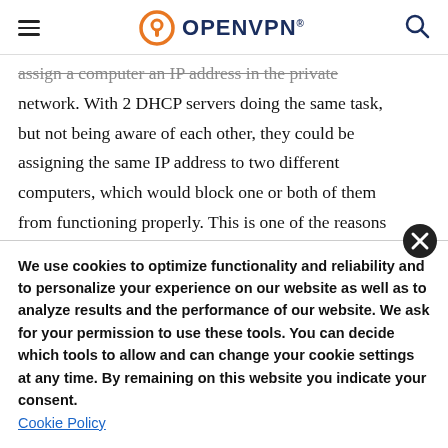OpenVPN
assign a computer an IP address in the private network. With 2 DHCP servers doing the same task, but not being aware of each other, they could be assigning the same IP address to two different computers, which would block one or both of them from functioning properly. This is one of the reasons
We use cookies to optimize functionality and reliability and to personalize your experience on our website as well as to analyze results and the performance of our website. We ask for your permission to use these tools. You can decide which tools to allow and can change your cookie settings at any time. By remaining on this website you indicate your consent. Cookie Policy